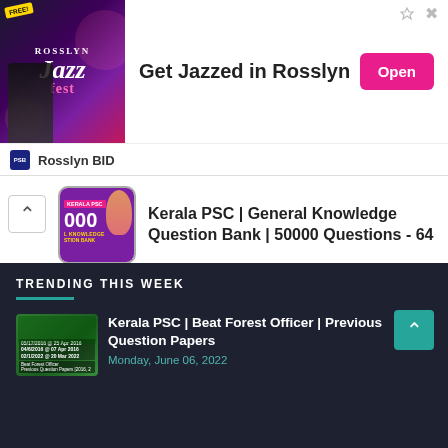[Figure (screenshot): Advertisement banner for Rosslyn Jazz Fest with 'Get Jazzed in Rosslyn' tagline and Open button, sponsored by Rosslyn BID]
Kerala PSC | General Knowledge Question Bank | 50000 Questions - 64
Kerala PSC | General Knowledge Question Bank | 50000 Questions - 63
TRENDING THIS WEEK
Kerala PSC | Beat Forest Officer | Previous Question Papers
Monday, June 06, 2022